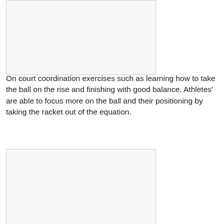[Figure (photo): Photo placeholder box at top left of page]
On court coordination exercises such as learning how to take the ball on the rise and finishing with good balance. Athletes' are able to focus more on the ball and their positioning by taking the racket out of the equation.
[Figure (photo): Photo placeholder box at bottom left of page]